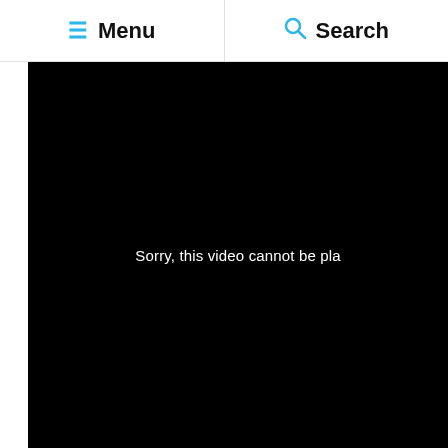Menu | Search
[Figure (screenshot): Black video player area showing error message: 'Sorry, this video cannot be pla[yed]']